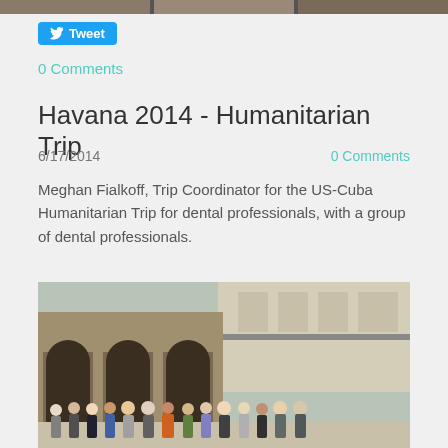[Figure (photo): Top strip showing partial images of people]
Tweet
0 Comments
Havana 2014 - Humanitarian Trip
6/17/2014
0 Comments
Meghan Fialkoff, Trip Coordinator for the US-Cuba Humanitarian Trip for dental professionals, with a group of dental professionals.
[Figure (photo): Group photo of dental professionals standing in front of a historic building with arched colonnades in Havana, Cuba]